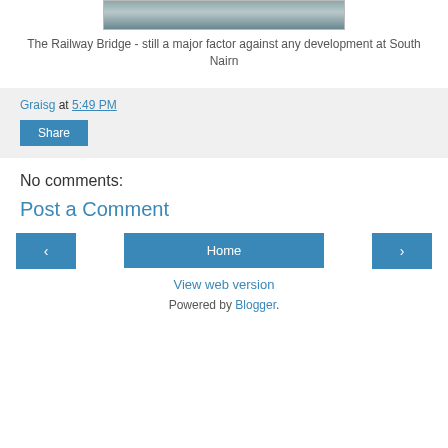[Figure (photo): Partial view of a person near a railway bridge, cropped at top]
The Railway Bridge - still a major factor against any development at South Nairn
Graisg at 5:49 PM
Share
No comments:
Post a Comment
‹ Home › View web version Powered by Blogger.